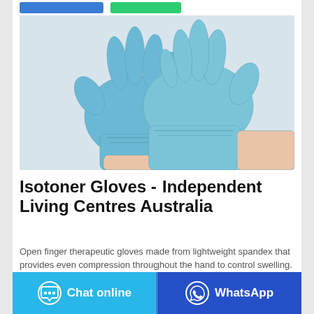[Figure (photo): Two hands wearing light blue nitrile/spandex therapeutic gloves, fingertips touching, photographed from above on a white/light grey surface.]
Isotoner Gloves - Independent Living Centres Australia
Open finger therapeutic gloves made from lightweight spandex that provides even compression throughout the hand to control swelling. The gloves are suitable for male
Chat online
WhatsApp